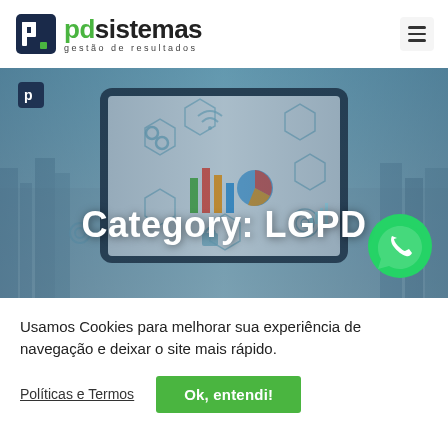[Figure (logo): PD Sistemas logo with icon and tagline 'gestão de resultados']
[Figure (photo): Hero banner image with digital technology/data security icons and tablet, overlaid with text 'Category: LGPD' and WhatsApp icon]
Category: LGPD
Usamos Cookies para melhorar sua experiência de navegação e deixar o site mais rápido.
Políticas e Termos
Ok, entendi!